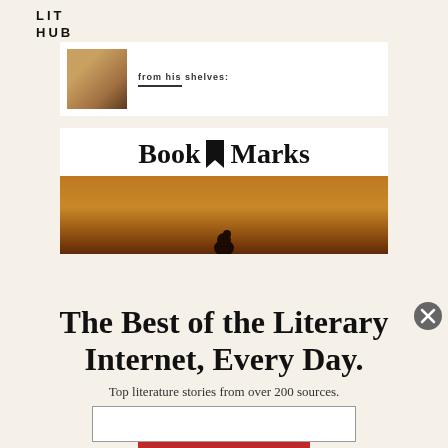LIT
HUB
[Figure (screenshot): Partial card with photo and 'from his shelves' text with underline]
[Figure (logo): Book Marks logo with bookmark icon]
[Figure (photo): Sunset photo with silhouette of a bird or person reading]
The Best of the Literary Internet, Every Day.
Top literature stories from over 200 sources.
[Figure (screenshot): Email input field (empty) and SUBSCRIBE button]